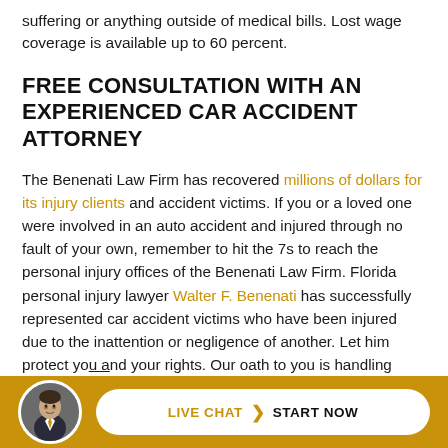suffering or anything outside of medical bills. Lost wage coverage is available up to 60 percent.
FREE CONSULTATION WITH AN EXPERIENCED CAR ACCIDENT ATTORNEY
The Benenati Law Firm has recovered millions of dollars for its injury clients and accident victims. If you or a loved one were involved in an auto accident and injured through no fault of your own, remember to hit the 7s to reach the personal injury offices of the Benenati Law Firm. Florida personal injury lawyer Walter F. Benenati has successfully represented car accident victims who have been injured due to the inattention or negligence of another. Let him protect you and your rights. Our oath to you is handling
LIVE CHAT > START NOW